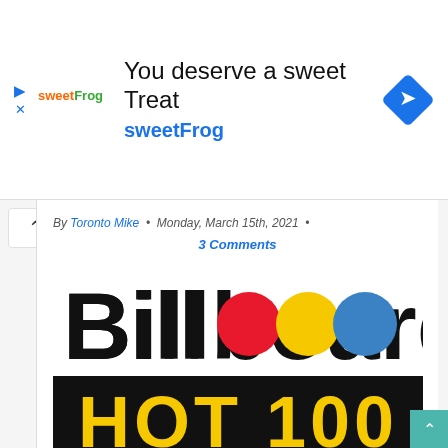[Figure (illustration): sweetFrog advertisement banner with logo, text 'You deserve a sweet Treat', 'sweetFrog', and a blue/white diamond direction sign icon]
By Toronto Mike · Monday, March 15th, 2021 · 3 Comments
[Figure (logo): Billboard Hot 100 logo: 'Billboard' in large black serif text with red, yellow, and blue dots as the two O letters, and 'HOT 100' in large yellow lettering on a black background bar]
Toronto's Drake is the first artist ever to debut three songs in the top three simultaneously. With "What's